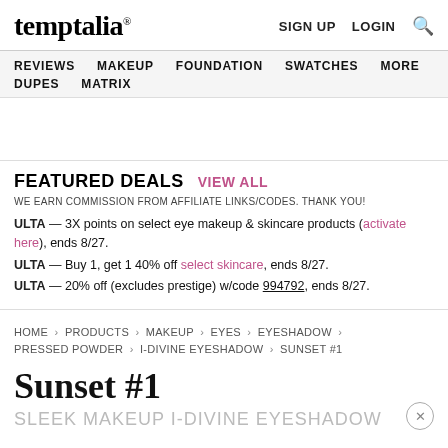temptalia® | SIGN UP | LOGIN | Search
REVIEWS | MAKEUP | FOUNDATION | SWATCHES | MORE | DUPES | MATRIX
FEATURED DEALS — VIEW ALL
WE EARN COMMISSION FROM AFFILIATE LINKS/CODES. THANK YOU!
ULTA — 3X points on select eye makeup & skincare products (activate here), ends 8/27.
ULTA — Buy 1, get 1 40% off select skincare, ends 8/27.
ULTA — 20% off (excludes prestige) w/code 994792, ends 8/27.
HOME › PRODUCTS › MAKEUP › EYES › EYESHADOW › PRESSED POWDER › I-DIVINE EYESHADOW › SUNSET #1
Sunset #1
SLEEK MAKEUP I-DIVINE EYESHADOW